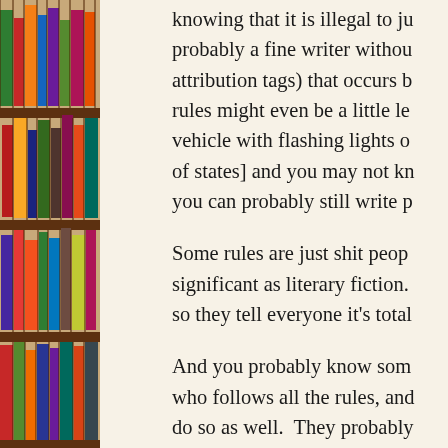[Figure (photo): A bookshelf filled with colorful books of various sizes, with wooden shelves visible. Books in red, orange, yellow, green, blue, and other colors are packed tightly on multiple shelves.]
knowing that it is illegal to ju... probably a fine writer withou... attribution tags) that occurs b... rules might even be a little le... vehicle with flashing lights o... of states] and you may not kn... you can probably still write p...
Some rules are just shit peop... significant as literary fiction. ... so they tell everyone it's total...
And you probably know som... who follows all the rules, and... do so as well. They probably... sounding explanation for wh... with writing or safety with d... their adherence to the rules c... achieve the opposite of their ... "proper" interpretation of yes... muddle meaning with many ...